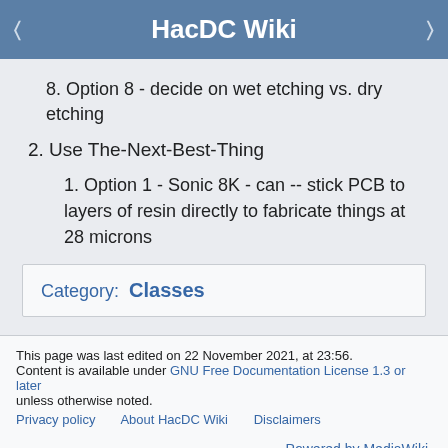HacDC Wiki
8. Option 8 - decide on wet etching vs. dry etching
2. Use The-Next-Best-Thing
1. Option 1 - Sonic 8K - can -- stick PCB to layers of resin directly to fabricate things at 28 microns
Category:  Classes
This page was last edited on 22 November 2021, at 23:56. Content is available under GNU Free Documentation License 1.3 or later unless otherwise noted. Privacy policy   About HacDC Wiki   Disclaimers   Powered by MediaWiki